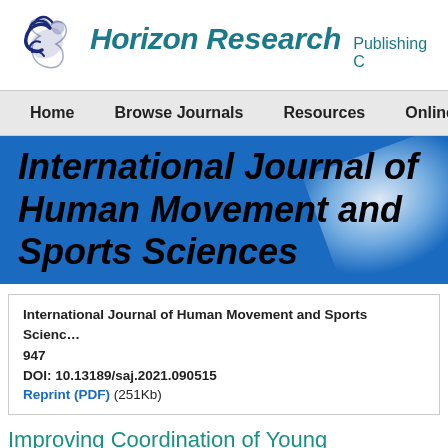[Figure (logo): Horizon Research Publishing logo with stylized horse/bird icon and italic teal text]
Home   Browse Journals   Resources   Online Su
[Figure (illustration): Blue banner with italic bold black text: International Journal of Human Movement and Sports Sciences, with white light flare on right side]
International Journal of Human Movement and Sports Sciences 947
DOI: 10.13189/saj.2021.090515
Reprint (PDF) (251Kb)
Improving Coordination of Young Footballers Years